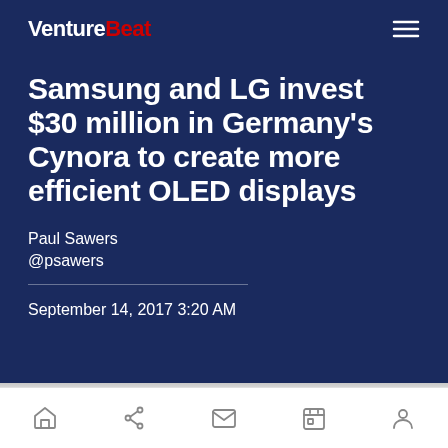VentureBeat
Samsung and LG invest $30 million in Germany's Cynora to create more efficient OLED displays
Paul Sawers
@psawers
September 14, 2017 3:20 AM